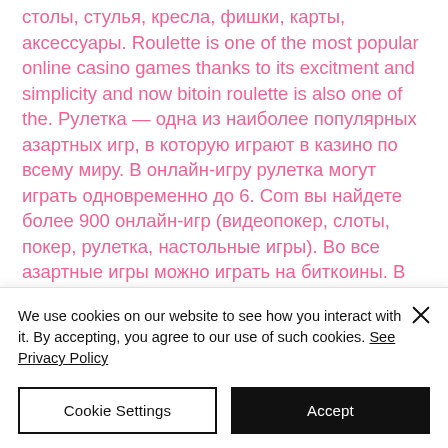столы, стулья, кресла, фишки, карты, аксессуары. Roulette is one of the most popular online casino games thanks to its excitment and simplicity and now bitoin roulette is also one of the. Рулетка — одна из наиболее популярных азартных игр, в которую играют в казино по всему миру. В онлайн-игру рулетка могут играть одновременно до 6. Сom вы найдете более 900 онлайн-игр (видеопокер, слоты, покер, рулетка, настольные игры). Во все азартные игры можно играть на биткоины. В скором времени подтянулись и
We use cookies on our website to see how you interact with it. By accepting, you agree to our use of such cookies. See Privacy Policy